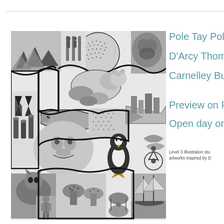[Figure (illustration): Black and white collage illustration featuring various animals and scenes including a penguin, whale, polar bear, mountain landscape, sailing ship, human figure, and decorative dotted circular patterns, arranged in an interlocking jigsaw-like composition.]
Pole Tay Pole
D'Arcy Thomps
Carnelley Buildi
Preview on Frid
Open day on Su
Level 3 Illustration stu artworks inspired by D